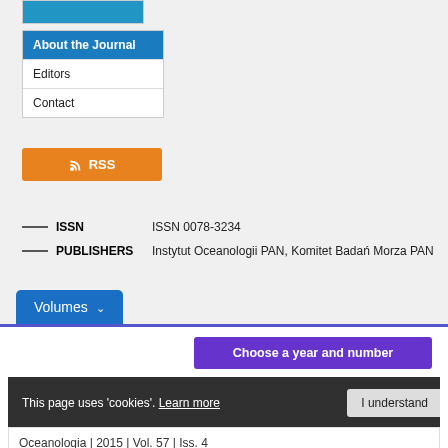[Figure (screenshot): Partial journal cover image at top]
About the Journal
Editors
Contact
[Figure (logo): RSS button with feed icon]
ISSN   ISSN 0078-3234
PUBLISHERS   Instytut Oceanologii PAN, Komitet Badań Morza PAN
Volumes
Choose a year and number
This page uses 'cookies'. Learn more   I understand
Oceanologia | 2015 | Vol. 57 | Iss. 4